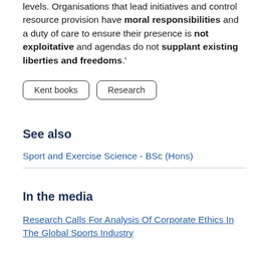levels. Organisations that lead initiatives and control resource provision have moral responsibilities and a duty of care to ensure their presence is not exploitative and agendas do not supplant existing liberties and freedoms.'
Kent books
Research
See also
Sport and Exercise Science - BSc (Hons)
In the media
Research Calls For Analysis Of Corporate Ethics In The Global Sports Industry